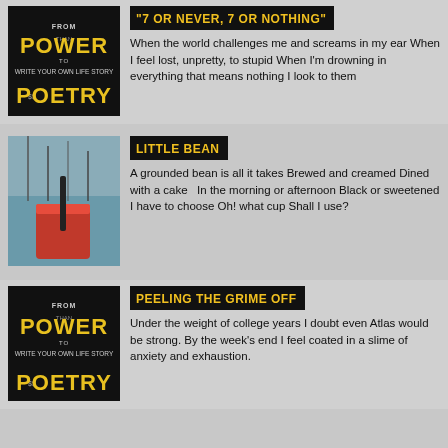[Figure (illustration): Power Poetry logo - black background with stylized text]
"7 OR NEVER, 7 OR NOTHING"
When the world challenges me and screams in my ear When I feel lost, unpretty, to stupid When I'm drowning in everything that means nothing I look to them
[Figure (photo): Photo of a red drink with a straw in a cup, with a winter outdoor background]
LITTLE BEAN
A grounded bean is all it takes Brewed and creamed Dined with a cake   In the morning or afternoon Black or sweetened I have to choose Oh! what cup Shall I use?
[Figure (illustration): Power Poetry logo - black background with stylized text]
PEELING THE GRIME OFF
Under the weight of college years I doubt even Atlas would be strong. By the week's end I feel coated in a slime of anxiety and exhaustion.